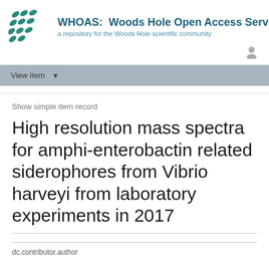[Figure (logo): WHOAS: Woods Hole Open Access Server logo with teal leaf/seed pattern and text]
View Item
Show simple item record
High resolution mass spectra for amphi-enterobactin related siderophores from Vibrio harveyi from laboratory experiments in 2017